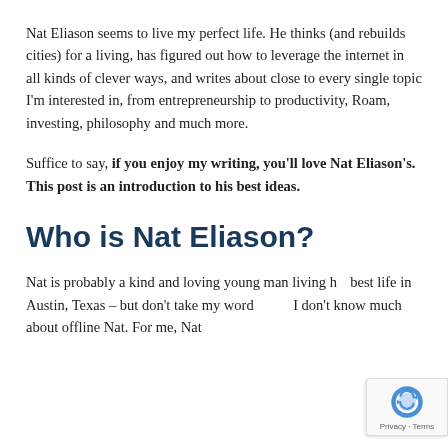Nat Eliason seems to live my perfect life. He thinks (and rebuilds cities) for a living, has figured out how to leverage the internet in all kinds of clever ways, and writes about close to every single topic I'm interested in, from entrepreneurship to productivity, Roam, investing, philosophy and much more.
Suffice to say, if you enjoy my writing, you'll love Nat Eliason's. This post is an introduction to his best ideas.
Who is Nat Eliason?
Nat is probably a kind and loving young man living his best life in Austin, Texas – but don't take my word for it, I don't know much about offline Nat. For me, Nat
[Figure (other): reCAPTCHA privacy badge in bottom right corner showing the reCAPTCHA logo and Privacy · Terms text]